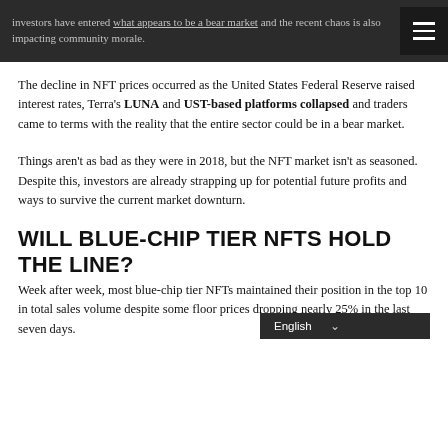investors have entered what appears to be a bear market and the recent chaos is also impacting community morale.
The decline in NFT prices occurred as the United States Federal Reserve raised interest rates, Terra's LUNA and UST-based platforms collapsed and traders came to terms with the reality that the entire sector could be in a bear market.
Things aren't as bad as they were in 2018, but the NFT market isn't as seasoned. Despite this, investors are already strapping up for potential future profits and ways to survive the current market downturn.
WILL BLUE-CHIP TIER NFTS HOLD THE LINE?
Week after week, most blue-chip tier NFTs maintained their position in the top 10 in total sales volume despite some floor prices dropping nearly 25% in the last seven days.